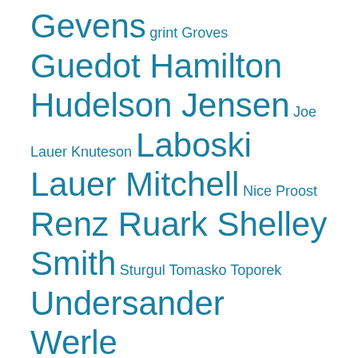Gevens grint Groves Guedot Hamilton Hudelson Jensen Joe Lauer Knuteson Laboski Lauer Mitchell Nice Proost Renz Ruark Shelley Smith Sturgul Tomasko Toporek Undersander Werle
COOKIE NOTICE
We use cookies on this site. By continuing to browse without changing your browser settings to block or delete cookies, you agree to the UW–Madison Privacy Notice.